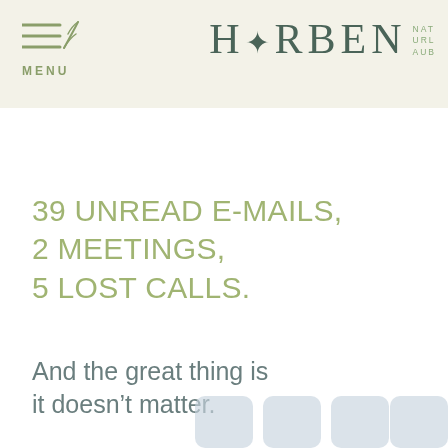MENU | HYRBEN NATURLAUB
39 UNREAD E-MAILS, 2 MEETINGS, 5 LOST CALLS.
And the great thing is it doesn’t matter.